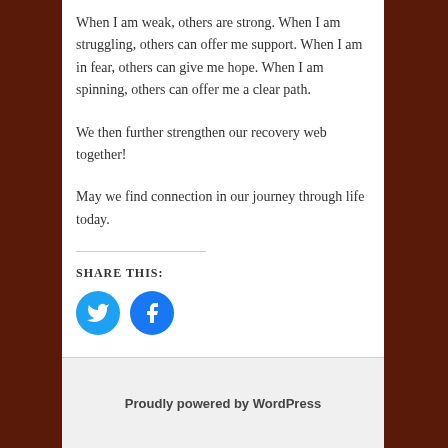When I am weak, others are strong. When I am struggling, others can offer me support. When I am in fear, others can give me hope. When I am spinning, others can offer me a clear path.
We then further strengthen our recovery web together!
May we find connection in our journey through life today.
SHARE THIS:
[Figure (other): Twitter and Facebook social share icon buttons]
This entry was posted in OA W.O.W. by admin. Bookmark the permalink.
Proudly powered by WordPress